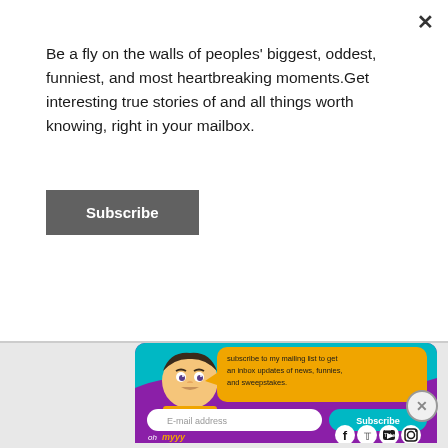Be a fly on the walls of peoples' biggest, oddest, funniest, and most heartbreaking moments.Get interesting true stories of and all things worth knowing, right in your mailbox.
Subscribe
[Figure (illustration): Colorful subscription widget with cartoon character, teal and purple background, speech bubble saying 'subscribe to my mailing list to get an inbox updates of news, funnies, and sweepstakes.', email input field, Subscribe button, ohmyyy logo, and social media icons (Facebook, Twitter, YouTube, Instagram).]